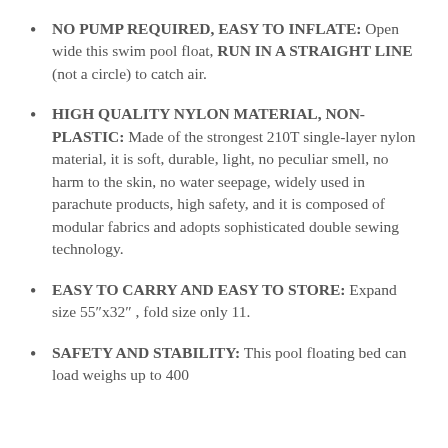NO PUMP REQUIRED, EASY TO INFLATE: Open wide this swim pool float, RUN IN A STRAIGHT LINE (not a circle) to catch air.
HIGH QUALITY NYLON MATERIAL, NON-PLASTIC: Made of the strongest 210T single-layer nylon material, it is soft, durable, light, no peculiar smell, no harm to the skin, no water seepage, widely used in parachute products, high safety, and it is composed of modular fabrics and adopts sophisticated double sewing technology.
EASY TO CARRY AND EASY TO STORE: Expand size 55″x32″ , fold size only 11.
SAFETY AND STABILITY: This pool floating bed can load weighs up to 400